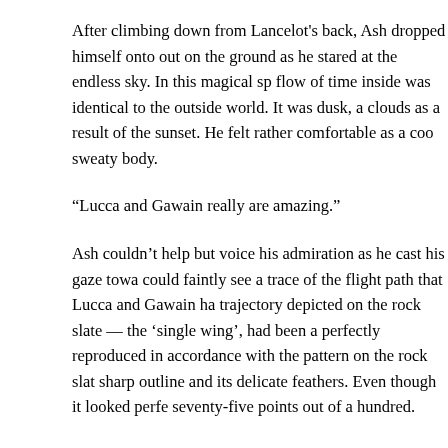After climbing down from Lancelot's back, Ash dropped himself onto out on the ground as he stared at the endless sky. In this magical sp flow of time inside was identical to the outside world. It was dusk, a clouds as a result of the sunset. He felt rather comfortable as a coo sweaty body.
“Lucca and Gawain really are amazing.”
Ash couldn’t help but voice his admiration as he cast his gaze towa could faintly see a trace of the flight path that Lucca and Gawain ha trajectory depicted on the rock slate — the ‘single wing’, had been a perfectly reproduced in accordance with the pattern on the rock slat sharp outline and its delicate feathers. Even though it looked perfe seventy-five points out of a hundred.
“If something of that calibre is only worth seventy-five points, then m points at best, right?”
At a distance from the perfect ‘single wing’, the trail that had been le clearly visible. Although it was barely recognisable as the shape of